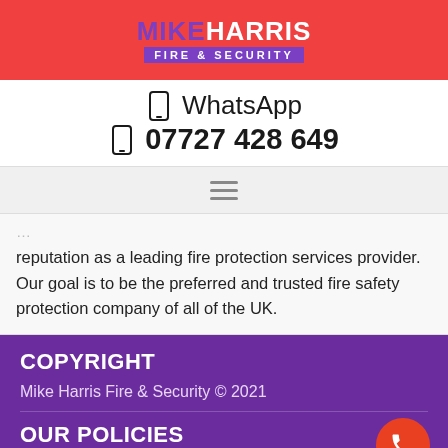MIKE HARRIS FIRE & SECURITY
WhatsApp
07727 428 649
[Figure (screenshot): Hamburger/menu icon (three horizontal lines)]
reputation as a leading fire protection services provider. Our goal is to be the preferred and trusted fire safety protection company of all of the UK.
COPYRIGHT
Mike Harris Fire & Security © 2021
OUR POLICIES
Cookie Policy